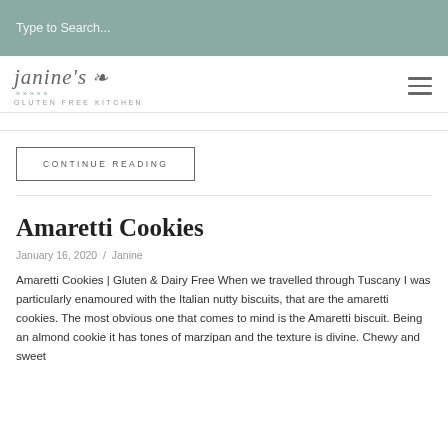Type to Search...
[Figure (logo): Janine's Gluten Free Kitchen logo with script text and decorative leaf motif]
CONTINUE READING
Amaretti Cookies
January 16, 2020 / Janine
Amaretti Cookies | Gluten & Dairy Free When we travelled through Tuscany I was particularly enamoured with the Italian nutty biscuits, that are the amaretti cookies. The most obvious one that comes to mind is the Amaretti biscuit. Being an almond cookie it has tones of marzipan and the texture is divine. Chewy and sweet...